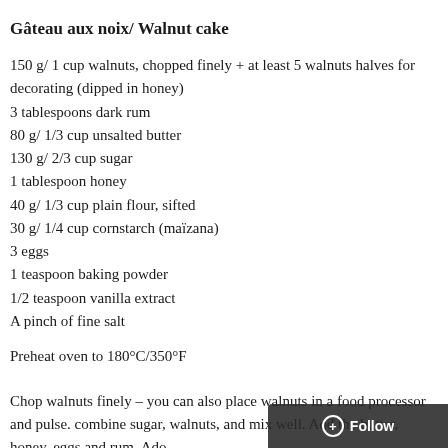Gâteau aux noix/ Walnut cake
150 g/ 1 cup walnuts, chopped finely + at least 5 walnuts halves for decorating (dipped in honey)
3 tablespoons dark rum
80 g/ 1/3 cup unsalted butter
130 g/ 2/3 cup sugar
1 tablespoon honey
40 g/ 1/3 cup plain flour, sifted
30 g/ 1/4 cup cornstarch (maïzana)
3 eggs
1 teaspoon baking powder
1/2 teaspoon vanilla extract
A pinch of fine salt
Preheat oven to 180°C/350°F
Chop walnuts finely – you can also place walnuts in a food processor and pulse. combine sugar, walnuts, and mix well. Add the butter, honey, eggs and rum. Ad In another bowl, combine sifted flour, cornstarch and 1 teaspoon …